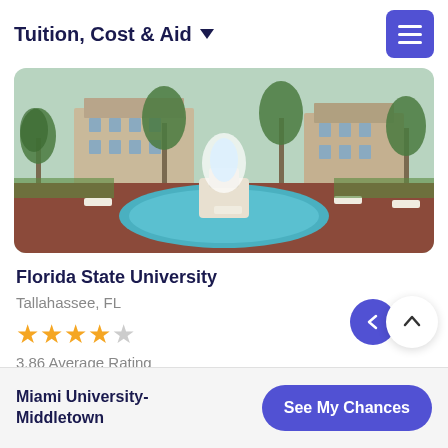Tuition, Cost & Aid
[Figure (photo): Campus photo of Florida State University showing a large circular fountain with white water feature, surrounded by palm trees and red-brick pathways, with university buildings in the background.]
Florida State University
Tallahassee, FL
3.86 Average Rating
Miami University-Middletown
See My Chances